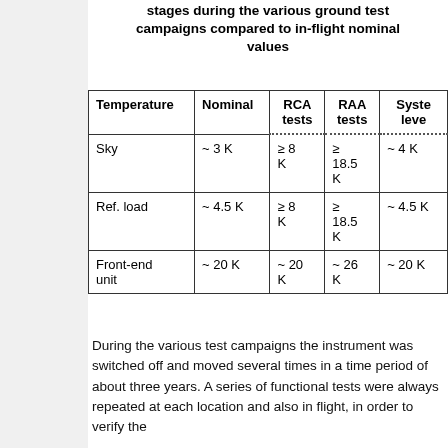stages during the various ground test campaigns compared to in-flight nominal values
| Temperature | Nominal | RCA tests | RAA tests | System level |
| --- | --- | --- | --- | --- |
| Sky | ~ 3 K | ≥ 8 K | ≥ 18.5 K | ~ 4 K |
| Ref. load | ~ 4.5 K | ≥ 8 K | ≥ 18.5 K | ~ 4.5 K |
| Front-end unit | ~ 20 K | ~ 20 K | ~ 26 K | ~ 20 K |
During the various test campaigns the instrument was switched off and moved several times in a time period of about three years. A series of functional tests were always repeated at each location and also in flight, in order to verify the